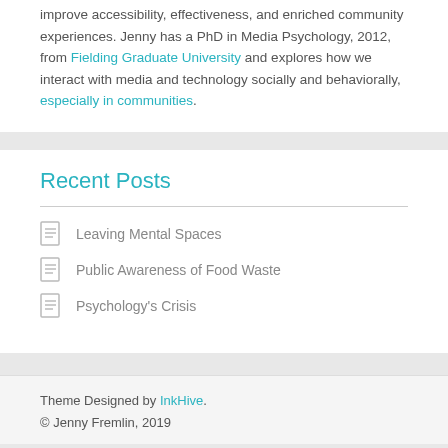improve accessibility, effectiveness, and enriched community experiences. Jenny has a PhD in Media Psychology, 2012, from Fielding Graduate University and explores how we interact with media and technology socially and behaviorally, especially in communities.
Recent Posts
Leaving Mental Spaces
Public Awareness of Food Waste
Psychology's Crisis
Theme Designed by InkHive. © Jenny Fremlin, 2019